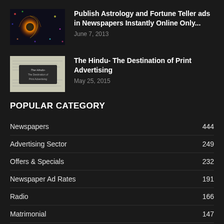[Figure (photo): Thumbnail image with dark background showing a glowing orange/yellow celestial or mystical swirl motif with colorful patterns around it]
Publish Astrology and Fortune Teller ads in Newspapers Instantly Online Only...
June 7, 2013
[Figure (photo): Thumbnail image showing a newspaper with text 'The Hindu- The Destination of Print Advertising']
The Hindu- The Destination of Print Advertising
May 25, 2015
POPULAR CATEGORY
Newspapers 444
Advertising Sector 249
Offers & Specials 232
Newspaper Ad Rates 191
Radio 166
Matrimonial 147